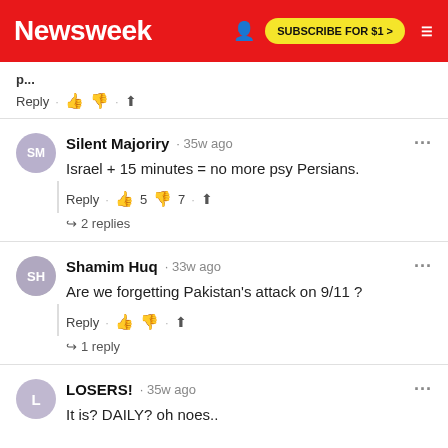Newsweek | SUBSCRIBE FOR $1 >
Reply · 👍 👎 · ⬆
Silent Majoriry · 35w ago
Israel + 15 minutes = no more psy Persians.
Reply · 👍 5 👎 7 · ⬆
↩ 2 replies
Shamim Huq · 33w ago
Are we forgetting Pakistan's attack on 9/11 ?
Reply · 👍 👎 · ⬆
↩ 1 reply
LOSERS! · 35w ago
It is? DAILY? oh noes..